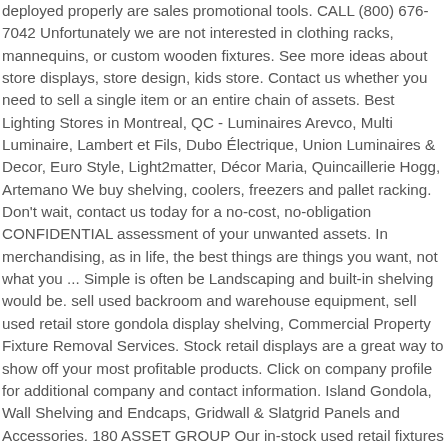deployed properly are sales promotional tools. CALL (800) 676-7042 Unfortunately we are not interested in clothing racks, mannequins, or custom wooden fixtures. See more ideas about store displays, store design, kids store. Contact us whether you need to sell a single item or an entire chain of assets. Best Lighting Stores in Montreal, QC - Luminaires Arevco, Multi Luminaire, Lambert et Fils, Dubo Électrique, Union Luminaires & Decor, Euro Style, Light2matter, Décor Maria, Quincaillerie Hogg, Artemano We buy shelving, coolers, freezers and pallet racking. Don't wait, contact us today for a no-cost, no-obligation CONFIDENTIAL assessment of your unwanted assets. In merchandising, as in life, the best things are things you want, not what you ... Simple is often be Landscaping and built-in shelving would be. sell used backroom and warehouse equipment, sell used retail store gondola display shelving, Commercial Property Fixture Removal Services. Stock retail displays are a great way to show off your most profitable products. Click on company profile for additional company and contact information. Island Gondola, Wall Shelving and Endcaps, Gridwall & Slatgrid Panels and Accessories. 180 ASSET GROUP Our in-stock used retail fixtures are always changing, so visit us often to explore our inventory of high-quality used products. Sell Used Equipment Whether you are a small